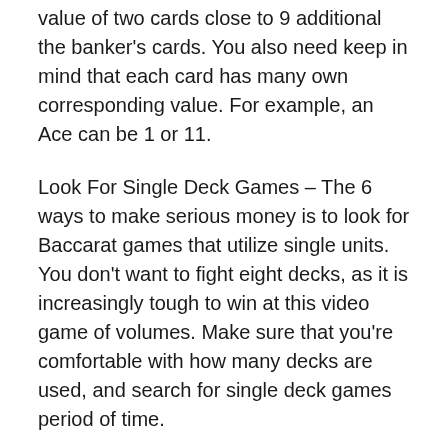value of two cards close to 9 additional the banker's cards. You also need keep in mind that each card has many own corresponding value. For example, an Ace can be 1 or 11.
Look For Single Deck Games – The 6 ways to make serious money is to look for Baccarat games that utilize single units. You don't want to fight eight decks, as it is increasingly tough to win at this video game of volumes. Make sure that you're comfortable with how many decks are used, and search for single deck games period of time.
Casino
< How To Filter Water In The Wild Naturally And Effectively?